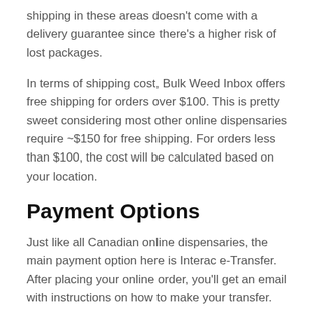shipping in these areas doesn't come with a delivery guarantee since there's a higher risk of lost packages.
In terms of shipping cost, Bulk Weed Inbox offers free shipping for orders over $100. This is pretty sweet considering most other online dispensaries require ~$150 for free shipping. For orders less than $100, the cost will be calculated based on your location.
Payment Options
Just like all Canadian online dispensaries, the main payment option here is Interac e-Transfer. After placing your online order, you'll get an email with instructions on how to make your transfer.
One really cool thing about BWIB is that they accept Bitcoin.